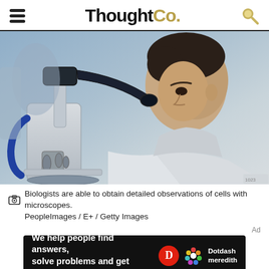ThoughtCo.
[Figure (photo): A man in a white lab coat looking through a microscope in a laboratory setting]
Biologists are able to obtain detailed observations of cells with microscopes. PeopleImages / E+ / Getty Images
[Figure (infographic): Dotdash Meredith advertisement banner: 'We help people find answers, solve problems and get inspired.']